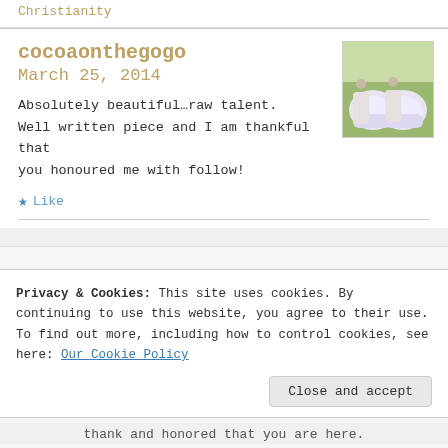Christianity
cocoaonthegogo
March 25, 2014
[Figure (photo): Small square avatar photo showing feet/shoes from above on grass, with pink-accented sneakers visible]
Absolutely beautiful…raw talent.
Well written piece and I am thankful that
you honoured me with follow!
Like
Privacy & Cookies: This site uses cookies. By continuing to use this website, you agree to their use. To find out more, including how to control cookies, see here: Our Cookie Policy
Close and accept
thank and honored that you are here.